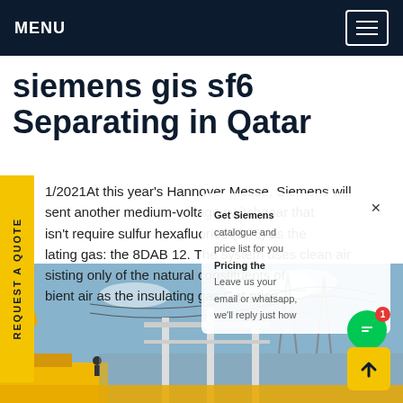MENU
siemens gis sf6 Separating in Qatar
1/2021At this year's Hannover Messe, Siemens will sent another medium-voltage switchgear that isn't require sulfur hexafluoride (SF6) as the lating gas: the 8DAB 12. The system uses clean air sisting only of the natural constituents of bient air as the insulating gas.Get price
[Figure (photo): Industrial electrical substation with cranes, pylons, and power lines against a blue sky with yellow construction equipment in the foreground]